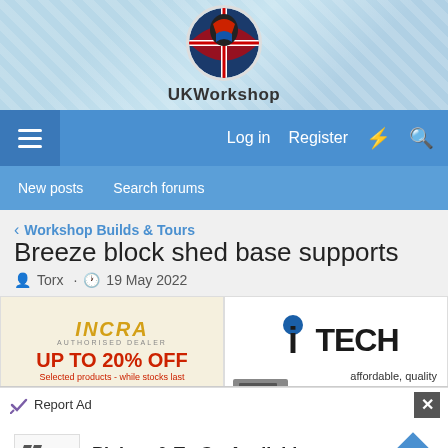[Figure (logo): UKWorkshop forum logo with circular emblem showing UK flag and helmet graphic, with 'UKWorkshop' text below, on a light blue diagonal-striped background]
Log in  Register  [lightning icon]  [search icon]
New posts  Search forums
< Workshop Builds & Tours
Breeze block shed base supports
Torx · 19 May 2022
[Figure (photo): INCRA Authorised Dealer advertisement - UP TO 20% OFF Selected products - while stocks last. www.woodworkersworkshop.co.uk]
[Figure (logo): iTECH logo with blue dot above i, bold dark letters TECH, tagline: affordable, quality machines, with image of machinery]
[Figure (logo): LAGUNA brand advertisement on dark background]
[Figure (photo): SHOP DEALS ON - advertisement on brown background]
Report Ad
[Figure (photo): Pickup & To Go Available - McAlister's Deli advertisement with McAlisters logo and blue diamond arrow icon]